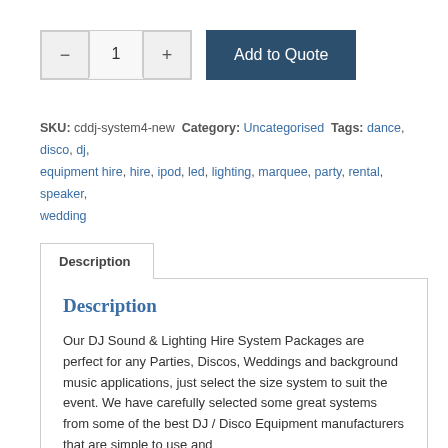[Figure (screenshot): Quantity selector with minus button, number 1, plus button, and Add to Quote button]
SKU: cddj-system4-new  Category: Uncategorised  Tags: dance, disco, dj, equipment hire, hire, ipod, led, lighting, marquee, party, rental, speaker, wedding
Description
Description
Our DJ Sound & Lighting Hire System Packages are perfect for any Parties, Discos, Weddings and background music applications, just select the size system to suit the event. We have carefully selected some great systems from some of the best DJ / Disco Equipment manufacturers that are simple to use and